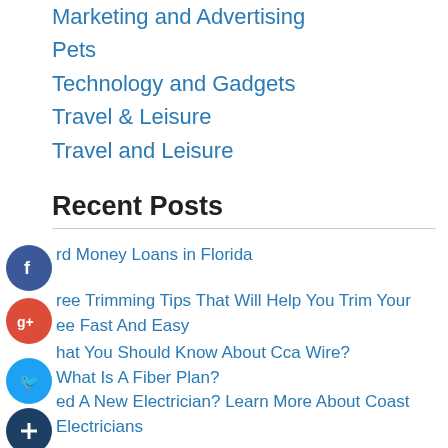Marketing and Advertising
Pets
Technology and Gadgets
Travel & Leisure
Travel and Leisure
Recent Posts
rd Money Loans in Florida
ree Trimming Tips That Will Help You Trim Your ee Fast And Easy
hat You Should Know About Cca Wire?
What Is A Fiber Plan?
ed A New Electrician? Learn More About Coast Electricians